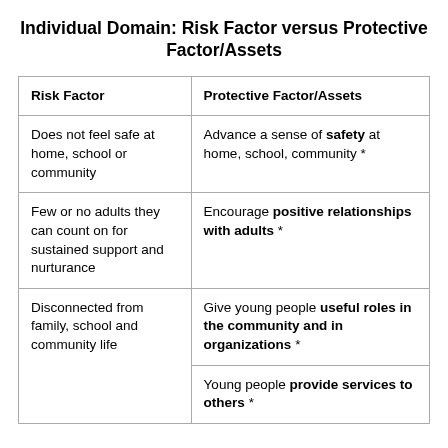Individual Domain: Risk Factor versus Protective Factor/Assets
| Risk Factor | Protective Factor/Assets |
| --- | --- |
| Does not feel safe at home, school or community | Advance a sense of safety at home, school, community * |
| Few or no adults they can count on for sustained support and nurturance | Encourage positive relationships with adults * |
| Disconnected from family, school and community life | Give young people useful roles in the community and in organizations * |
|  | Young people provide services to others * |